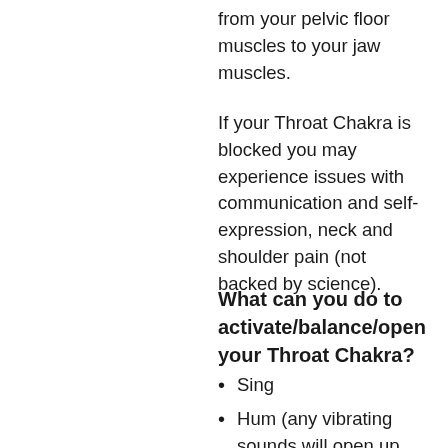from your pelvic floor muscles to your jaw muscles.
If your Throat Chakra is blocked you may experience issues with communication and self-expression, neck and shoulder pain (not backed by science).
What can you do to activate/balance/open your Throat Chakra?
Sing
Hum (any vibrating sounds will open up the Throat Chakra and is